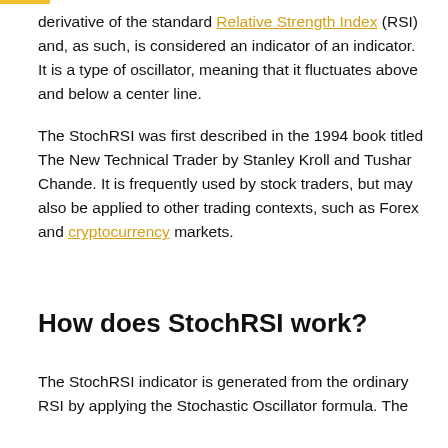derivative of the standard Relative Strength Index (RSI) and, as such, is considered an indicator of an indicator. It is a type of oscillator, meaning that it fluctuates above and below a center line.
The StochRSI was first described in the 1994 book titled The New Technical Trader by Stanley Kroll and Tushar Chande. It is frequently used by stock traders, but may also be applied to other trading contexts, such as Forex and cryptocurrency markets.
How does StochRSI work?
The StochRSI indicator is generated from the ordinary RSI by applying the Stochastic Oscillator formula. The